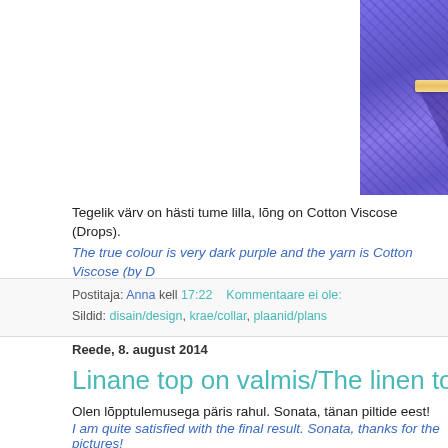[Figure (photo): Close-up of a dark purple knitted/crocheted fabric with a gold/wooden clasp visible at the top center, showing the V-neckline area of a garment.]
Tegelik värv on hästi tume lilla, lõng on Cotton Viscose (Drops).
The true colour is very dark purple and the yarn is Cotton Viscose (by D...
Postitaja: Anna kell 17:22   Kommentaare ei ole:
Sildid: disain/design, krae/collar, plaanid/plans
Reede, 8. august 2014
Linane top on valmis/The linen top is finishe...
Olen lõpptulemusega päris rahul. Sonata, tänan piltide eest!
I am quite satisfied with the final result. Sonata, thanks for the pictures!
[Figure (photo): Partial view of a person's head with dark hair, outdoors with green foliage in the background, cut off at bottom of page.]